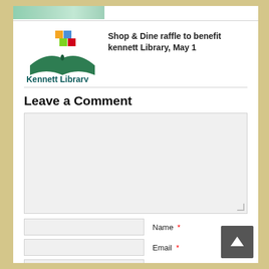[Figure (photo): Partial view of a green-tinted image (likely raffle tickets) at top of page]
[Figure (logo): Kennett Library logo: open book with green pages and colorful squares above, with text 'Kennett Library' in dark teal bold font]
Shop & Dine raffle to benefit kennett Library, May 1
Leave a Comment
Comment text area (empty)
Name *
Email *
Website